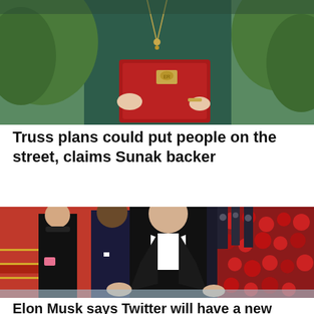[Figure (photo): A woman in dark teal clothing holding a red official ministerial box with a royal crest, green foliage in the background — likely Liz Truss]
Truss plans could put people on the street, claims Sunak backer
[Figure (photo): Elon Musk in a black tuxedo with white bow tie gesturing with hands at what appears to be the Met Gala red carpet, with other attendees behind him]
Elon Musk says Twitter will have a new CEO...